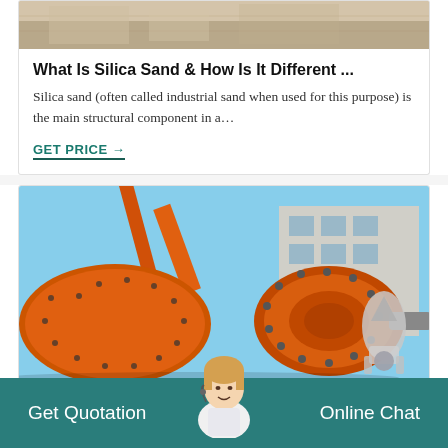[Figure (photo): Top portion of an industrial/mining equipment or sand image, cropped at top]
What Is Silica Sand & How Is It Different ...
Silica sand (often called industrial sand when used for this purpose) is the main structural component in a…
GET PRICE →
[Figure (photo): Large orange industrial ball mill machine outdoors near a building, with a rocket/chat widget overlay in bottom right]
Get Quotation    Online Chat